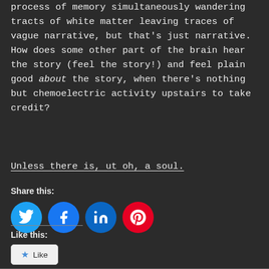process of memory simultaneously wandering tracts of white matter leaving traces of vague narrative, but that's just narrative. How does some other part of the brain hear the story (feel the story!) and feel plain good about the story, when there's nothing but chemoelectric activity upstairs to take credit?
Unless there is, ut oh, a soul.
Share this:
[Figure (other): Social media sharing buttons: Twitter (blue circle), Facebook (blue circle), LinkedIn (dark blue circle), Pinterest (red circle)]
Like this:
[Figure (other): Like button widget with star icon and text 'Like']
Be the first to like this.